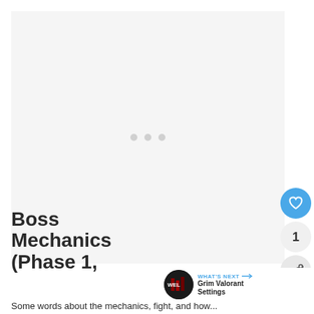[Figure (other): Loading placeholder area with three light gray dots centered in a light gray rectangle]
[Figure (photo): Circular thumbnail image showing a dark gaming-themed graphic, associated with Grim Valorant Settings article]
Boss Mechanics (Phase 1,
WHAT'S NEXT → Grim Valorant Settings